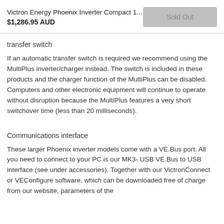Victron Energy Phoenix Inverter Compact 1... $1,286.95 AUD | Sold Out
transfer switch
If an automatic transfer switch is required we recommend using the MultiPlus inverter/charger instead. The switch is included in these products and the charger function of the MultiPlus can be disabled. Computers and other electronic equipment will continue to operate without disruption because the MultiPlus features a very short switchover time (less than 20 milliseconds).
Communications interface
These larger Phoenix inverter models come with a VE.Bus port. All you need to connect to your PC is our MK3- USB VE.Bus to USB interface (see under accessories). Together with our VictronConnect or VEConfigure software, which can be downloaded free of charge from our website, parameters of the